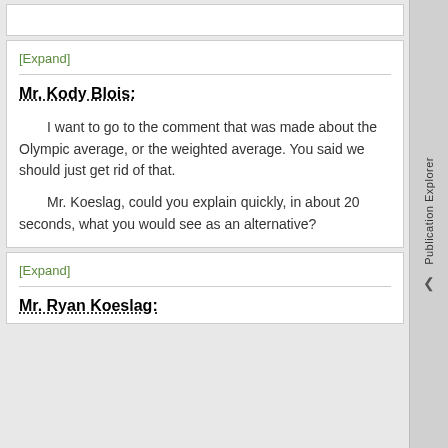[Expand]
Mr. Kody Blois:
I want to go to the comment that was made about the Olympic average, or the weighted average. You said we should just get rid of that.
Mr. Koeslag, could you explain quickly, in about 20 seconds, what you would see as an alternative?
[Expand]
Mr. Ryan Koeslag: